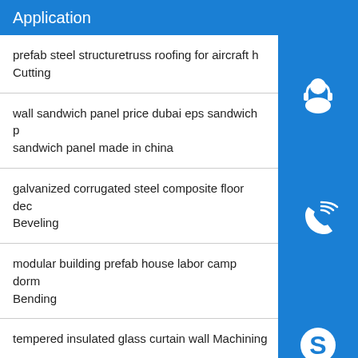Application
prefab steel structuretruss roofing for aircraft h Cutting
wall sandwich panel price dubai eps sandwich p sandwich panel made in china
galvanized corrugated steel composite floor dec Beveling
modular building prefab house labor camp dorm Bending
tempered insulated glass curtain wall Machining
omega c channel steel frame construction roll form Argon arc welding
[Figure (illustration): Three blue icon buttons stacked vertically on the right side: customer support headset icon, phone/call icon, and Skype 'S' logo icon]